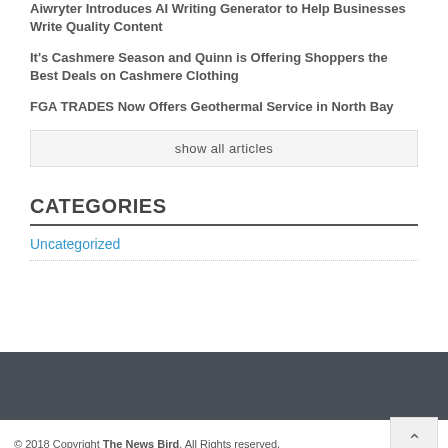Aiwryter Introduces AI Writing Generator to Help Businesses Write Quality Content
It's Cashmere Season and Quinn is Offering Shoppers the Best Deals on Cashmere Clothing
FGA TRADES Now Offers Geothermal Service in North Bay
show all articles
CATEGORIES
Uncategorized
© 2018 Copyright The News Bird. All Rights reserved.